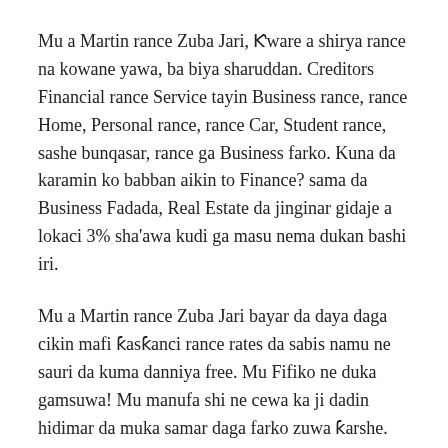Mu a Martin rance Zuba Jari, Ƙware a shirya rance na kowane yawa, ba biya sharuddan. Creditors Financial rance Service tayin Business rance, rance Home, Personal rance, rance Car, Student rance, sashe bunqasar, rance ga Business farko. Kuna da karamin ko babban aikin to Finance? sama da Business Fadada, Real Estate da jinginar gidaje a lokaci 3% sha'awa kudi ga masu nema dukan bashi iri.
Mu a Martin rance Zuba Jari bayar da daya daga cikin mafi ƙasƙanci rance rates da sabis namu ne sauri da kuma danniya free. Mu Fifiko ne duka gamsuwa! Mu manufa shi ne cewa ka ji dadin hidimar da muka samar daga farko zuwa ƙarshe. Sha'awar sabon nema a gare aro ya kamata tuntubi a [loanmarkerting1@gmail.com] Gudanarwa Director ƙarin bayani.